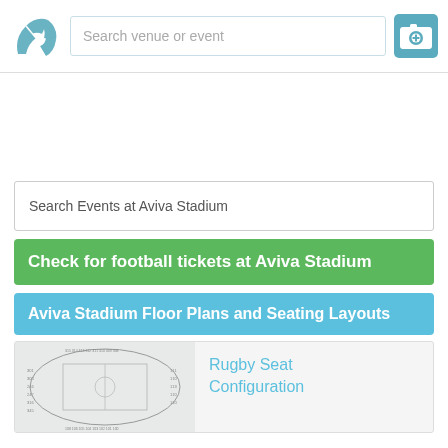[Figure (logo): Stadium seating fan-shaped logo in teal/blue color]
Search venue or event
[Figure (other): Teal camera icon with plus sign]
Search Events at Aviva Stadium
Check for football tickets at Aviva Stadium
Aviva Stadium Floor Plans and Seating Layouts
[Figure (other): Rugby Seat Configuration seating map thumbnail]
Rugby Seat Configuration